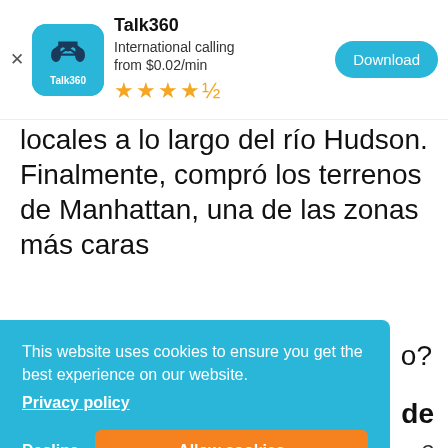[Figure (screenshot): Talk360 app advertisement banner with app icon (blue rounded square with Talk360 branding), app name 'Talk360', subtitle 'International calling from $0.02/min', 4.5 star rating, and a blue 'Download' button. A close (x) button is on the left.]
locales a lo largo del río Hudson. Finalmente, compró los terrenos de Manhattan, una de las zonas más caras
o?
[Figure (screenshot): Cookie consent banner with cyan/blue background. Text: 'This website uses cookies to ensure you get the best experience on our website.' with a 'Privacy policy' link, and two buttons: 'Decline' (text) and 'Allow cookies' (orange button).]
de
e
más grande que el